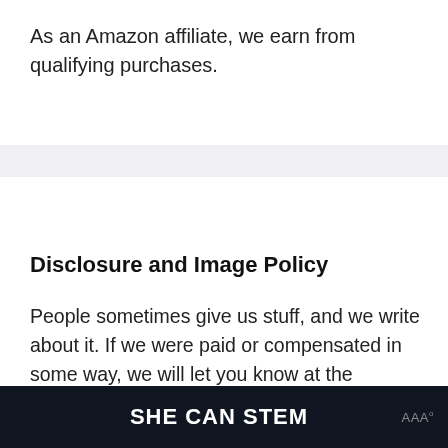As an Amazon affiliate, we earn from qualifying purchases.
Disclosure and Image Policy
People sometimes give us stuff, and we write about it. If we were paid or compensated in some way, we will let you know at the beginning of the post. Click Here To Read Our Di... Privacy Policy & ... Policy
[Figure (logo): SHE CAN STEM banner logo on dark background with small watermark logo in corner]